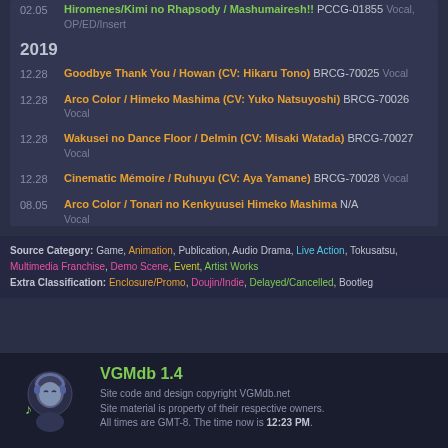02.05 Hiromenes/Kimi no Rhapsody / Mashumairesh!! PCCG-01855 Vocal, OP/ED/Insert
2019
12.28 Goodbye Thank You / Howan (CV: Hikaru Tono) BRCG-70025 Vocal
12.28 Arco Color / Himeko Mashima (CV: Yuko Natsuyoshi) BRCG-70026 Vocal
12.28 Wakusei no Dance Floor / Delmin (CV: Misaki Watada) BRCG-70027 Vocal
12.28 Cinematic Mémoire / Ruhuyu (CV: Aya Yamane) BRCG-70028 Vocal
08.05 Arco Color / Tonari no Kenkyuusei Himeko Mashima N/A Vocal
Source Category: Game, Animation, Publication, Audio Drama, Live Action, Tokusatsu, Multimedia Franchise, Demo Scene, Event, Artist Works Extra Classification: Enclosure/Promo, Doujin/Indie, Delayed/Cancelled, Bootleg
VGMdb 1.4
Site code and design copyright VGMdb.net Site material is property of their respective owners. All times are GMT-8. The time now is 12:23 PM.